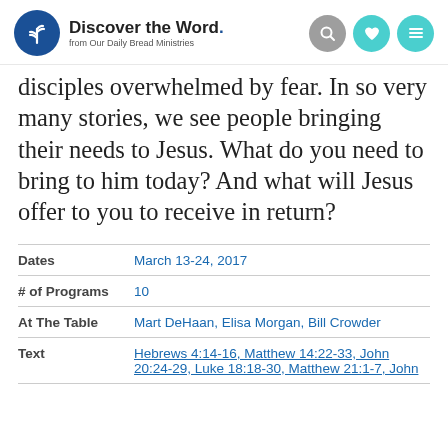Discover the Word. from Our Daily Bread Ministries
disciples overwhelmed by fear. In so very many stories, we see people bringing their needs to Jesus. What do you need to bring to him today? And what will Jesus offer to you to receive in return?
| Field | Value |
| --- | --- |
| Dates | March 13-24, 2017 |
| # of Programs | 10 |
| At The Table | Mart DeHaan, Elisa Morgan, Bill Crowder |
| Text | Hebrews 4:14-16, Matthew 14:22-33, John 20:24-29, Luke 18:18-30, Matthew 21:1-7, John |